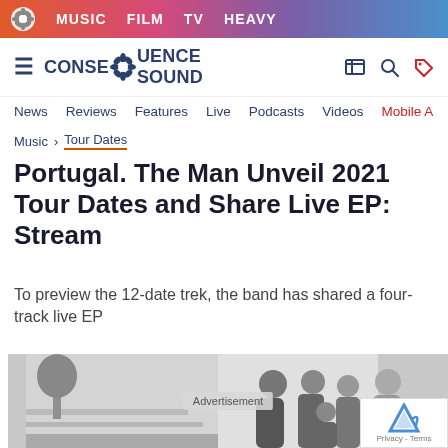MUSIC  FILM  TV  HEAVY
CONSEQUENCE SOUND
News  Reviews  Features  Live  Podcasts  Videos  Mobile A
Music > Tour Dates
Portugal. The Man Unveil 2021 Tour Dates and Share Live EP: Stream
To preview the 12-date trek, the band has shared a four-track live EP
[Figure (photo): Black and white photo of Portugal. The Man band members standing together outdoors against a white wall with a tree visible on the left side. Four members visible. An advertisement overlay appears in the center of the image. A reCAPTCHA Privacy-Terms badge appears in the bottom right corner.]